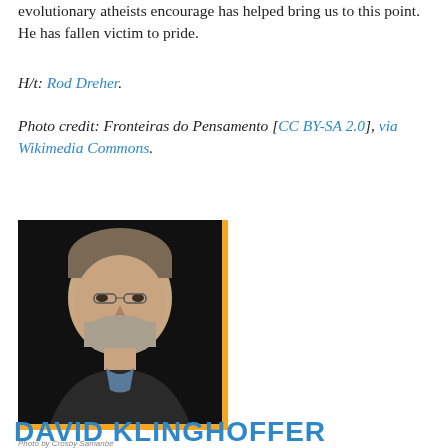evolutionary atheists encourage has helped bring us to this point. He has fallen victim to pride.
H/t: Rod Dreher.
Photo credit: Fronteiras do Pensamento [CC BY-SA 2.0], via Wikimedia Commons.
[Figure (photo): Portrait photo of David Klinghoffer, a middle-aged man with grey-streaked brown hair and a beard, wearing a dark sweater, against a dark background. An orange vertical bar appears on the right side of the image.]
DAVID KLINGHOFFER
Photo by Crosby Samanbé